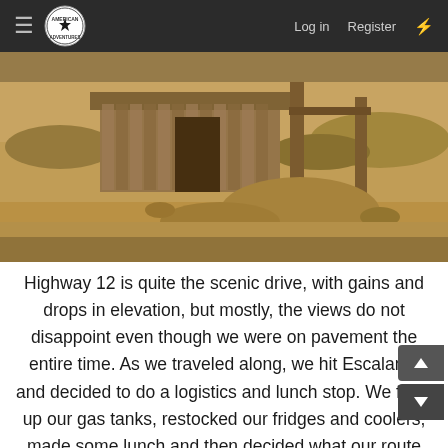≡  [American Adventure logo]  Log in   Register   ⚡
[Figure (photo): Sepia-toned photograph of a rural desert scene with an old wooden structure/shed, wooden poles, arid scrubland and dirt ground, taken along Highway 12.]
Highway 12 is quite the scenic drive, with gains and drops in elevation, but mostly, the views do not disappoint even though we were on pavement the entire time. As we traveled along, we hit Escalante and decided to do a logistics and lunch stop. We filled up our gas tanks, restocked our fridges and coolers, made some lunch and then decided what our route would be taking from there.